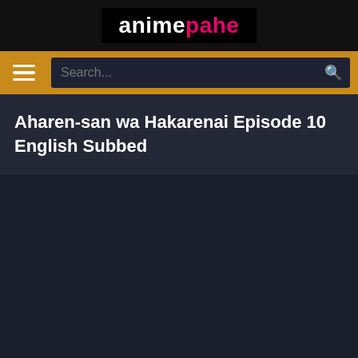animepahe
[Figure (screenshot): Navigation bar with hamburger menu icon and search box on orange background]
Aharen-san wa Hakarenai Episode 10 English Subbed